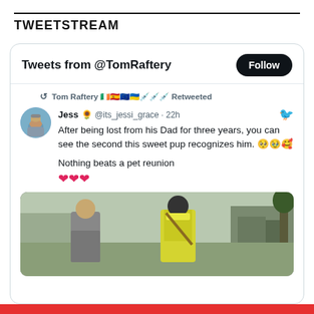TWEETSTREAM
Tweets from @TomRaftery
Tom Raftery 🇮🇪🇪🇸🇪🇺🇺🇦💉💉💉 Retweeted
Jess 🌻 @its_jessi_grace · 22h
After being lost from his Dad for three years, you can see the second this sweet pup recognizes him. 🥺🥹🥰

Nothing beats a pet reunion
❤❤❤
[Figure (photo): Video still showing two people outdoors, one in a grey hoodie and one in a yellow hi-vis vest with a helmet, standing in an open area.]